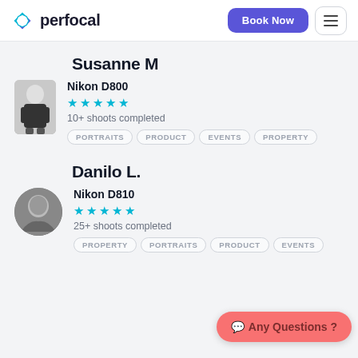perfocal — Book Now | menu
Susanne M
Nikon D800
★★★★★
10+ shoots completed
PORTRAITS  PRODUCT  EVENTS  PROPERTY
Danilo L.
Nikon D810
★★★★★
25+ shoots completed
PROPERTY  PORTRAITS  PRODUCT  EVENTS
💬 Any Questions ?